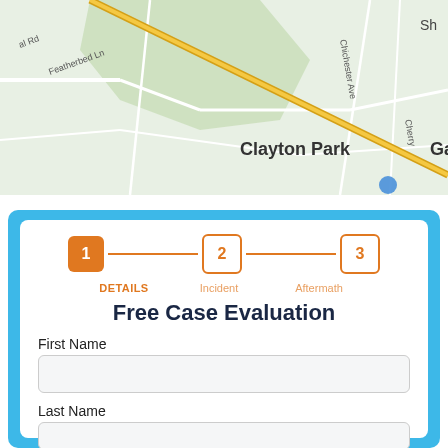[Figure (map): Google Maps screenshot showing Clayton Park and Garnet Valley area with road 322, Chichester Ave, Featherbed Ln, and a diagonal highway/road in yellow.]
Free Case Evaluation
First Name
Last Name